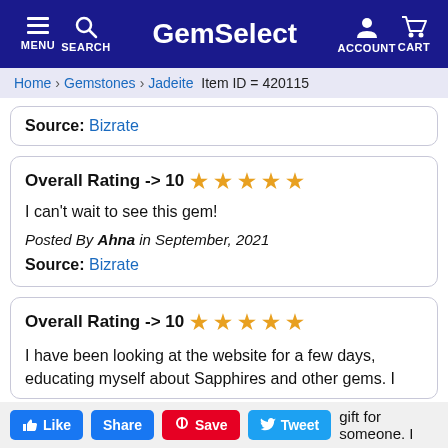GemSelect - MENU SEARCH ACCOUNT CART
Home > Gemstones > Jadeite  Item ID = 420115
Source: Bizrate
Overall Rating -> 10 ★★★★★
I can't wait to see this gem!
Posted By Ahna in September, 2021
Source: Bizrate
Overall Rating -> 10 ★★★★★
I have been looking at the website for a few days, educating myself about Sapphires and other gems. I ... gift for someone. I